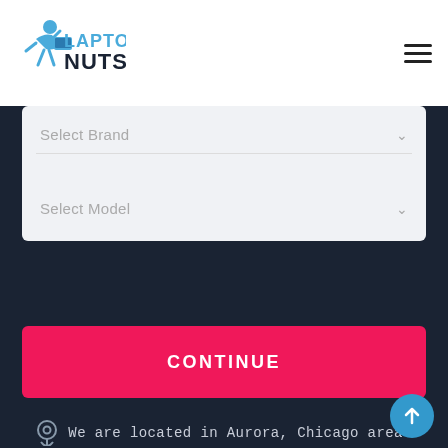[Figure (logo): Laptop Nuts logo with blue figure carrying laptop and text LAPTOP NUTS in blue]
[Figure (other): Hamburger menu icon (three horizontal lines)]
Select Brand
Select Model
CONTINUE
We are located in Aurora, Chicago area!
24666 Devices Recycled
526